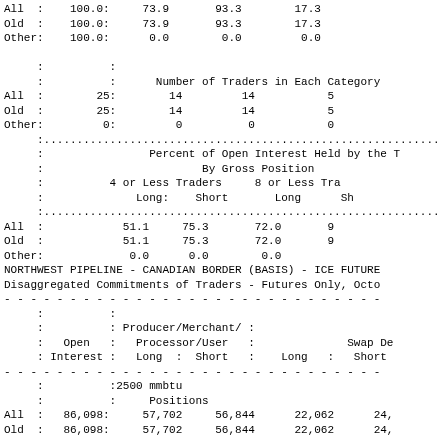|  |  |  |  |  |
| --- | --- | --- | --- | --- |
| All | : | 100.0: | 73.9 | 93.3 | 17.3 |
| Old | : | 100.0: | 73.9 | 93.3 | 17.3 |
| Other: |  | 100.0: | 0.0 | 0.0 | 0.0 |
|  | : |  |  |  |  |
|  | : |  | Number of Traders in Each Category |  |  |
| All | : | 25: | 14 | 14 | 5 |
| Old | : | 25: | 14 | 14 | 5 |
| Other: |  | 0: | 0 | 0 | 0 |
|  |  | Percent of Open Interest Held by the T |  |  |  |
| --- | --- | --- | --- | --- | --- |
|  |  | By Gross Position |  |  |  |
|  |  | 4 or Less Traders |  | 8 or Less Tra |  |
|  |  | Long: | Short | Long | Sh |
| All | : | 51.1 | 75.3 | 72.0 | 9 |
| Old | : | 51.1 | 75.3 | 72.0 | 9 |
| Other: |  | 0.0 | 0.0 | 0.0 |  |
NORTHWEST PIPELINE - CANADIAN BORDER (BASIS) - ICE FUTURE
Disaggregated Commitments of Traders - Futures Only, Octo
|  | Open | Producer/Merchant/
Processor/User
Long : Short |  | Swap De
Long : Short |
| --- | --- | --- | --- | --- |
| :2500 mmbtu |  |  |  |  |
| Positions |  |  |  |  |
| All : 86,098: | 57,702 | 56,844 | 22,062 | 24, |
| Old : 86,098: | 57,702 | 56,844 | 22,062 | 24, |